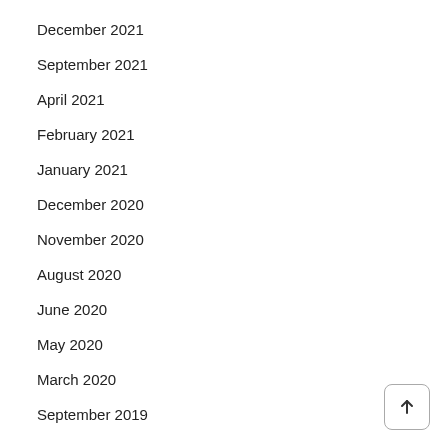December 2021
September 2021
April 2021
February 2021
January 2021
December 2020
November 2020
August 2020
June 2020
May 2020
March 2020
September 2019